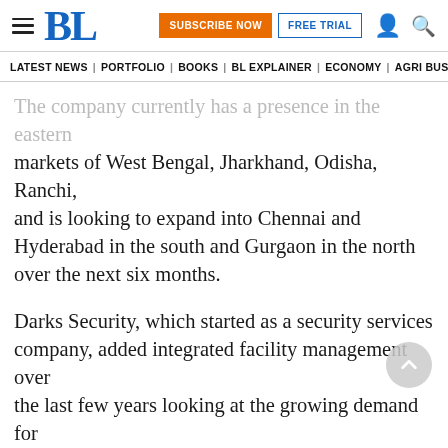BL | SUBSCRIBE NOW | FREE TRIAL
LATEST NEWS | PORTFOLIO | BOOKS | BL EXPLAINER | ECONOMY | AGRI BUSINESS |
The company currently has a presence in the eastern markets of West Bengal, Jharkhand, Odisha, Ranchi, and is looking to expand into Chennai and Hyderabad in the south and Gurgaon in the north over the next six months.
Darks Security, which started as a security services company, added integrated facility management over the last few years looking at the growing demand for such services in the region. The company aims to achieve a turnover of around ₹200 crore over the